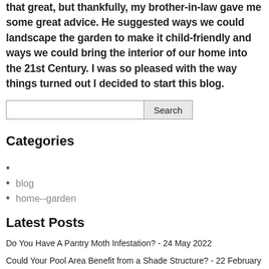that great, but thankfully, my brother-in-law gave me some great advice. He suggested ways we could landscape the garden to make it child-friendly and ways we could bring the interior of our home into the 21st Century. I was so pleased with the way things turned out I decided to start this blog.
Categories
blog
home--garden
Latest Posts
Do You Have A Pantry Moth Infestation? - 24 May 2022
Could Your Pool Area Benefit from a Shade Structure? - 22 February 2022